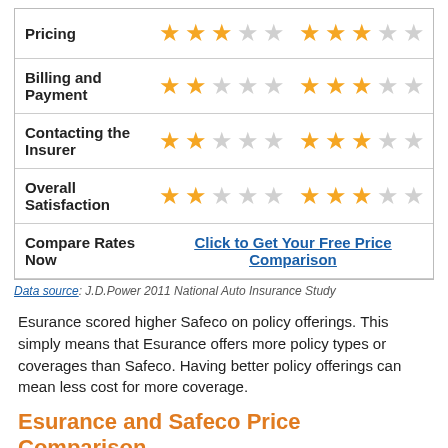| Category | Rating 1 | Rating 2 |
| --- | --- | --- |
| Pricing | ★★★☆☆ | ★★★☆☆ |
| Billing and Payment | ★★☆☆☆ | ★★★☆☆ |
| Contacting the Insurer | ★★☆☆☆ | ★★★☆☆ |
| Overall Satisfaction | ★★☆☆☆ | ★★★☆☆ |
| Compare Rates Now | Click to Get Your Free Price Comparison |  |
Data source: J.D.Power 2011 National Auto Insurance Study
Esurance scored higher Safeco on policy offerings. This simply means that Esurance offers more policy types or coverages than Safeco. Having better policy offerings can mean less cost for more coverage.
Esurance and Safeco Price Comparison
On pricing, Esurance scored similar to Safeco. Does this mean